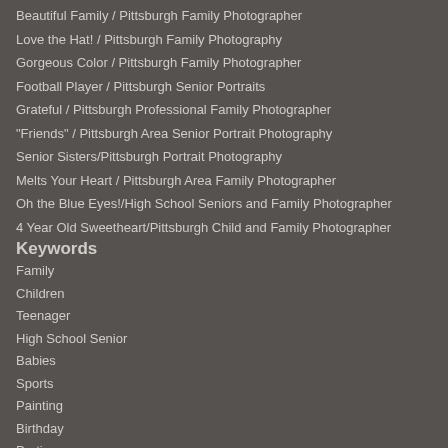Beautiful Family / Pittsburgh Family Photographer
Love the Hat! / Pittsburgh Family Photography
Gorgeous Color / Pittsburgh Family Photographer
Football Player / Pittsburgh Senior Portraits
Grateful / Pittsburgh Professional Family Photographer
"Friends" / Pittsburgh Area Senior Portrait Photography
Senior Sisters/Pittsburgh Portrait Photography
Melts Your Heart / Pittsburgh Area Family Photographer
Oh the Blue Eyes!/High School Seniors and Family Photographer
4 Year Old Sweetheart/Pittsburgh Child and Family Photographer
Keywords
Family
Children
Teenager
High School Senior
Babies
Sports
Painting
Birthday
Parties
B&W